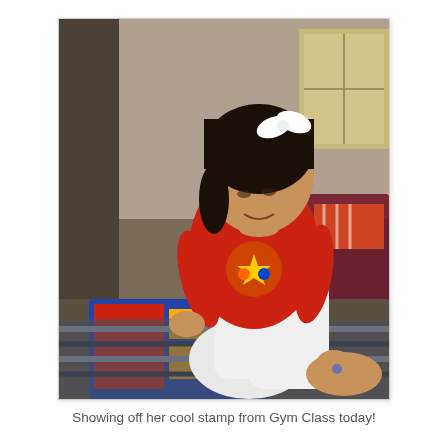[Figure (photo): A young toddler girl with dark hair and a white bow, wearing a red t-shirt with colorful design and white pants, crouching on a colorful rug in a living room, looking down at her foot which has a small stamp on it. A dark red armchair and striped rug are visible in the background.]
Showing off her cool stamp from Gym Class today!